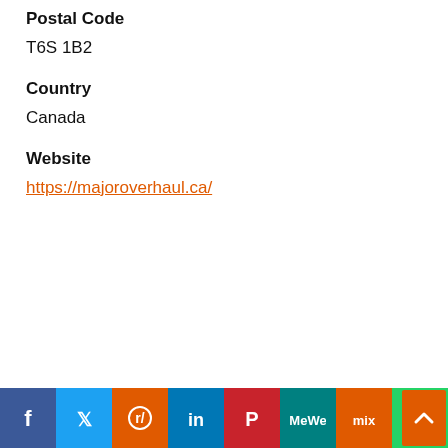Postal Code
T6S 1B2
Country
Canada
Website
https://majoroverhaul.ca/
Social share bar: Facebook, Twitter, Reddit, LinkedIn, Pinterest, MeWe, Mix, WhatsApp